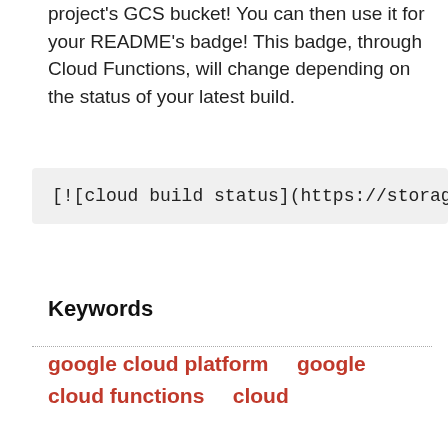project's GCS bucket! You can then use it for your README's badge! This badge, through Cloud Functions, will change depending on the status of your latest build.
[![cloud build status](https://storage.g
Keywords
google cloud platform   google
cloud functions   cloud